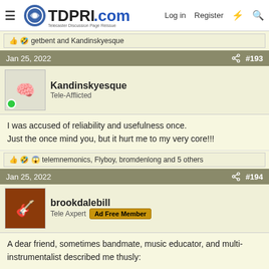TDPRI.com - Telecaster Discussion Page Reissue | Log in | Register
👍 🤣 getbent and Kandinskyesque
Jan 25, 2022  #193
Kandinskyesque
Tele-Afflicted
I was accused of reliability and usefulness once.
Just the once mind you, but it hurt me to my very core!!!
👍 🤣 😱 telemnemonics, Flyboy, bromdenlong and 5 others
Jan 25, 2022  #194
brookdalebill
Tele Axpert  Ad Free Member
A dear friend, sometimes bandmate, music educator, and multi-instrumentalist described me thusly: